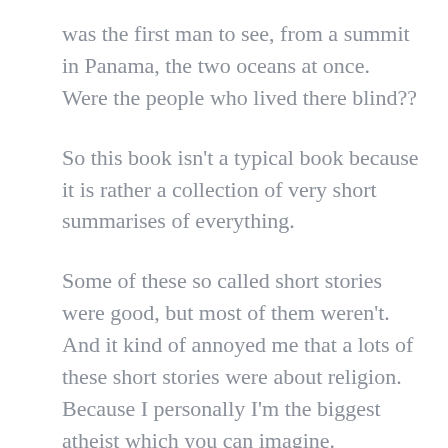was the first man to see, from a summit in Panama, the two oceans at once. Were the people who lived there blind??
So this book isn't a typical book because it is rather a collection of very short summarises of everything.
Some of these so called short stories were good, but most of them weren't. And it kind of annoyed me that a lots of these short stories were about religion. Because I personally I'm the biggest atheist which you can imagine.